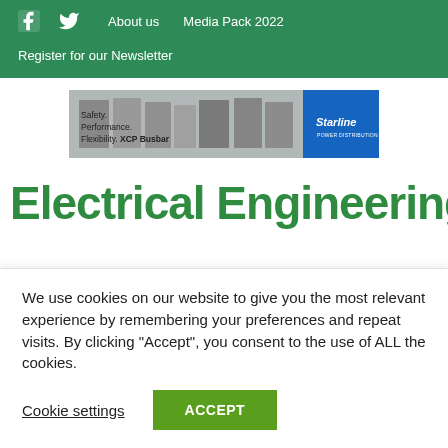Facebook  Twitter  About us  Media Pack 2022
Register for our Newsletter
[Figure (photo): Starline XCP Busbar advertisement banner showing industrial electrical equipment with text: Safety. Performance. Flexibility. XCP Busbar]
Electrical Engineering
We use cookies on our website to give you the most relevant experience by remembering your preferences and repeat visits. By clicking "Accept", you consent to the use of ALL the cookies.
Cookie settings  ACCEPT